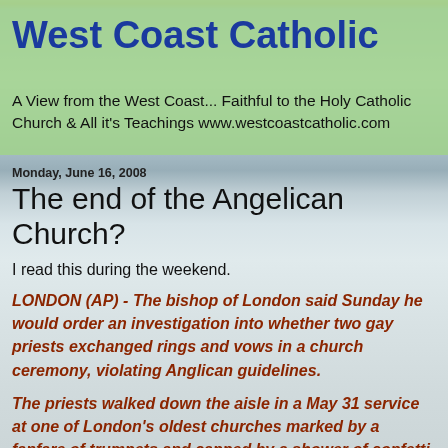West Coast Catholic
A View from the West Coast... Faithful to the Holy Catholic Church & All it's Teachings www.westcoastcatholic.com
Monday, June 16, 2008
The end of the Angelican Church?
I read this during the weekend.
LONDON (AP) - The bishop of London said Sunday he would order an investigation into whether two gay priests exchanged rings and vows in a church ceremony, violating Anglican guidelines.
The priests walked down the aisle in a May 31 service at one of London's oldest churches marked by a fanfare of trumpets and capped by a shower of confetti, Britain's Sunday Telegraph reported.